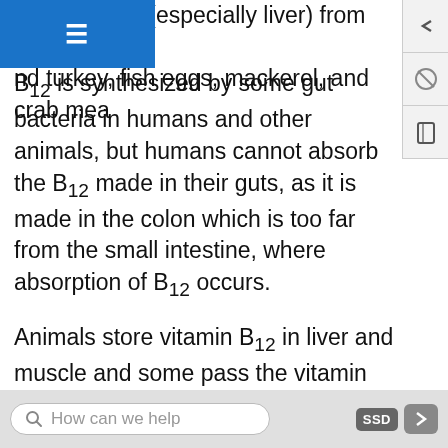organ meats (especially liver) from lamb, veal and turkey, fish eggs, mackerel, and crab meat
B12 is synthesized by some gut bacteria in humans and other animals, but humans cannot absorb the B12 made in their guts, as it is made in the colon which is too far from the small intestine, where absorption of B12 occurs.
Animals store vitamin B12 in liver and muscle and some pass the vitamin into their eggs and milk; meat, liver, eggs and milk are therefore sources of the vitamin for other animals, including people. For humans, the bioavailability from eggs is less than 9%, compared to 40% to 60% from fish, fowl and meat. Insects are also a source of B12. Foods fortified with B12 are also dietary sources of the vitamin. Foods for
How can we help